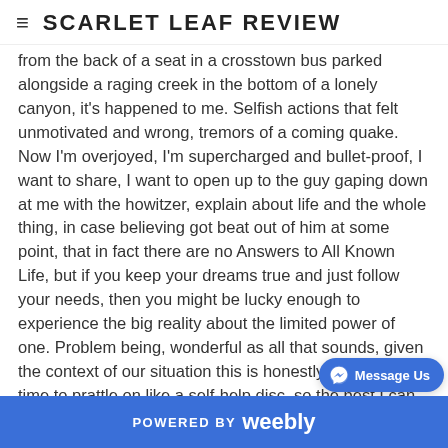SCARLET LEAF REVIEW
from the back of a seat in a crosstown bus parked alongside a raging creek in the bottom of a lonely canyon, it's happened to me. Selfish actions that felt unmotivated and wrong, tremors of a coming quake. Now I'm overjoyed, I'm supercharged and bullet-proof, I want to share, I want to open up to the guy gaping down at me with the howitzer, explain about life and the whole thing, in case believing got beat out of him at some point, that in fact there are no Answers to All Known Life, but if you keep your dreams true and just follow your needs, then you might be lucky enough to experience the big reality about the limited power of one. Problem being, wonderful as all that sounds, given the context of our situation this is honestly the worst time to prattle on like a self-help disc, so the best I can do is resolve to look him plain in the face and declare to him that -
POWERED BY weebly